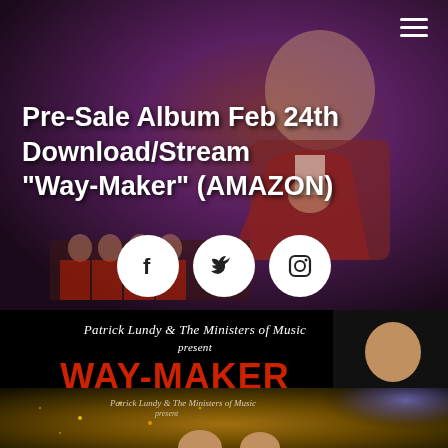[Figure (photo): Hero banner image showing a man in a red/burgundy suit with bow tie against a purple/dark background with choir members visible below. White menu hamburger icon in top right.]
Pre-Sale Album Feb 24th Download/Stream "Way-Maker" (AMAZON)
[Figure (illustration): Three white circular social media icons: Facebook (f), Twitter (bird), Instagram (camera)]
[Figure (illustration): Black banner showing 'Patrick Lundy & The Ministers of Music present WAY-MAKER NEW SINGLE' with artist photo on right side]
[Figure (photo): Album art strip at bottom showing Patrick Lundy & The Ministers of Music with golden sparkle background and cross light ray]